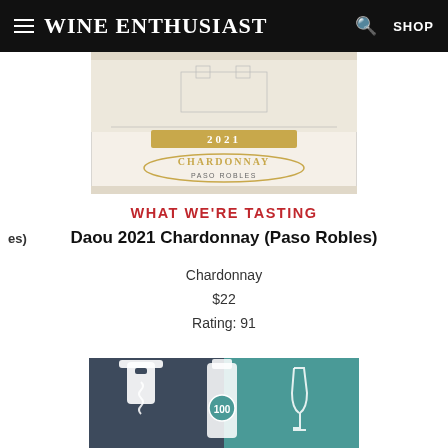Wine Enthusiast  SHOP
[Figure (illustration): Wine bottle label for Daou 2021 Chardonnay, Paso Robles, with etched vineyard illustration, showing '2021' in gold and 'CHARDONNAY PASO ROBLES' text]
WHAT WE'RE TASTING
Daou 2021 Chardonnay (Paso Robles)
Chardonnay
$22
Rating: 91
[Figure (illustration): Teal and dark blue illustrated graphic showing wine bottles, a corkscrew, and the number 100 on a bottle label]